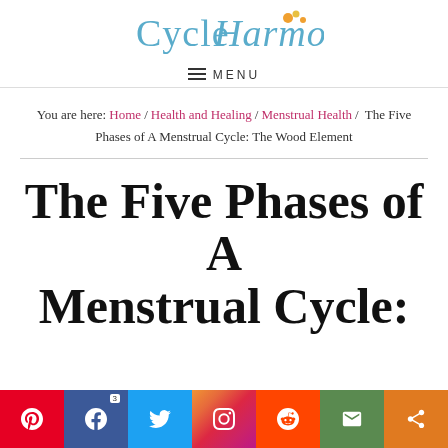[Figure (logo): Cycle Harmony logo with stylized cursive text and decorative floral accents]
≡ MENU
You are here: Home / Health and Healing / Menstrual Health / The Five Phases of A Menstrual Cycle: The Wood Element
The Five Phases of A Menstrual Cycle:
[Figure (infographic): Social share bar with Pinterest, Facebook (3 shares), Twitter, Instagram, Reddit, Email, and Share buttons]